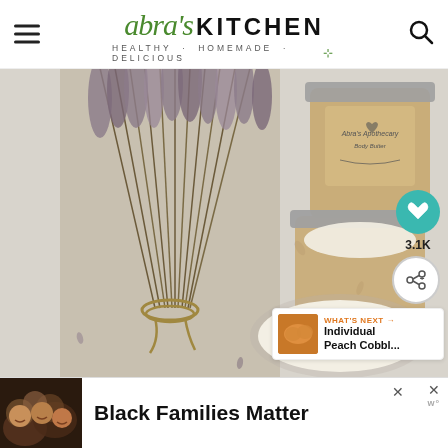Abra's Kitchen — Healthy · Homemade · Delicious
[Figure (photo): Flat lay photo of dried lavender bunches tied with twine alongside glass mason jars containing body butter lotion, one open jar showing white creamy product, and scattered dried lavender flowers on a white surface.]
3.1K
WHAT'S NEXT → Individual Peach Cobbl...
Black Families Matter